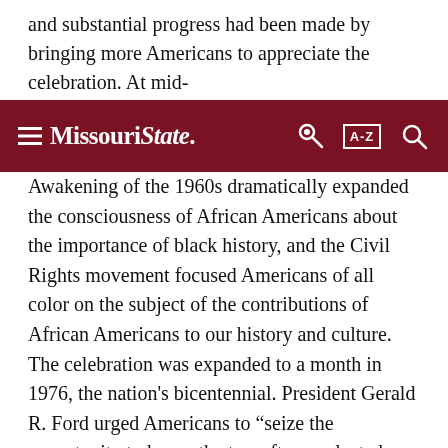and substantial progress had been made by bringing more Americans to appreciate the celebration. At mid-
[Figure (screenshot): Missouri State University navigation bar with dark red background, hamburger menu icon, Missouri State logo, key icon, A-Z index button, and search icon]
Awakening of the 1960s dramatically expanded the consciousness of African Americans about the importance of black history, and the Civil Rights movement focused Americans of all color on the subject of the contributions of African Americans to our history and culture. The celebration was expanded to a month in 1976, the nation's bicentennial. President Gerald R. Ford urged Americans to “seize the opportunity to honor the too-often neglected accomplishments of black Americans in every area of endeavor throughout our history.” That year, fifty years after the first celebration, the association held the first African American History Month. By this time, the entire nation had come to recognize the importance of Black history in the drama of the American story. Since then each American